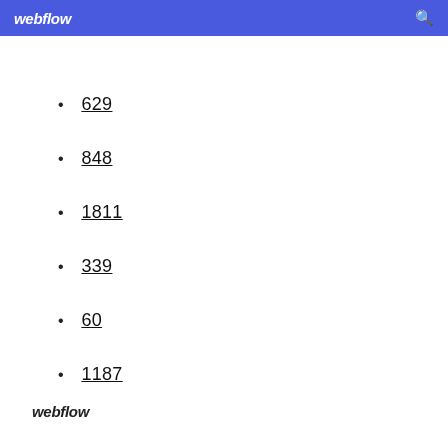webflow
629
848
1811
339
60
1187
webflow